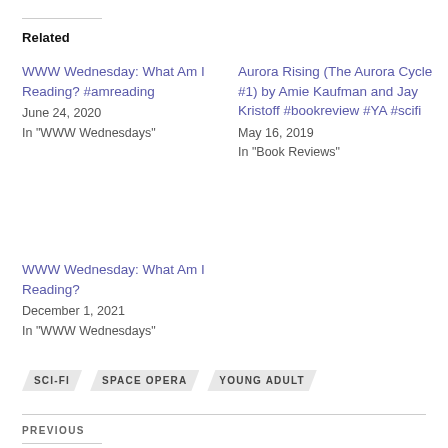Related
WWW Wednesday: What Am I Reading? #amreading
June 24, 2020
In "WWW Wednesdays"
Aurora Rising (The Aurora Cycle #1) by Amie Kaufman and Jay Kristoff #bookreview #YA #scifi
May 16, 2019
In "Book Reviews"
WWW Wednesday: What Am I Reading?
December 1, 2021
In "WWW Wednesdays"
SCI-FI
SPACE OPERA
YOUNG ADULT
PREVIOUS